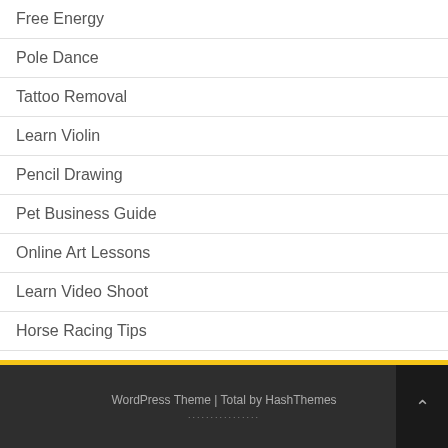Free Energy
Pole Dance
Tattoo Removal
Learn Violin
Pencil Drawing
Pet Business Guide
Online Art Lessons
Learn Video Shoot
Horse Racing Tips
WordPress Theme | Total by HashThemes